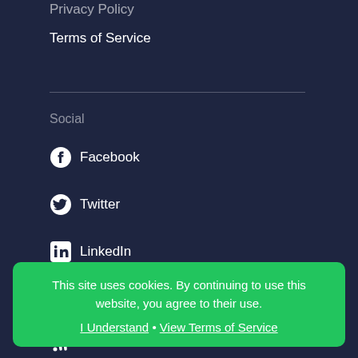Privacy Policy
Terms of Service
Social
Facebook
Twitter
LinkedIn
Reddit
RSS
Instagram
This site uses cookies. By continuing to use this website, you agree to their use. I Understand • View Terms of Service